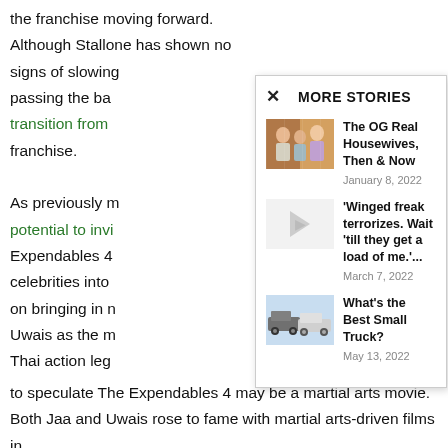the franchise moving forward. Although Stallone has shown no signs of slowing passing the baton transition from franchise.
As previously mentioned potential to invite Expendables 4 celebrities into on bringing in new Uwais as the main Thai action legend to speculate The Expendables 4 may be a martial arts movie. Both Jaa and Uwais rose to fame with martial arts-driven films in
MORE STORIES
[Figure (photo): Thumbnail image of Real Housewives cast members]
The OG Real Housewives, Then & Now
January 8, 2022
[Figure (photo): Placeholder thumbnail for winged freak story]
'Winged freak terrorizes. Wait 'till they get a load of me.'...
March 7, 2022
[Figure (photo): Photo of two small trucks, light blue background]
What's the Best Small Truck?
May 13, 2022